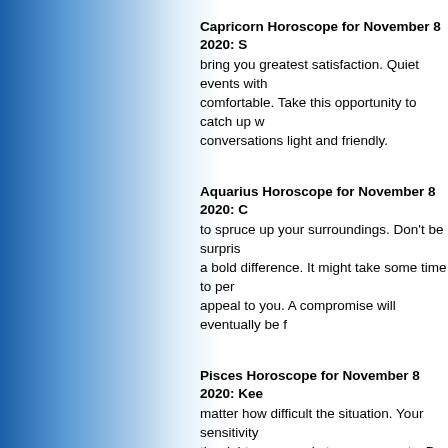Capricorn Horoscope for November 8 2020: S...
bring you greatest satisfaction. Quiet events with comfortable. Take this opportunity to catch up w conversations light and friendly.
Aquarius Horoscope for November 8 2020: C...
to spruce up your surroundings. Don't be surpris a bold difference. It might take some time to per appeal to you. A compromise will eventually be f
Pisces Horoscope for November 8 2020: Kee...
matter how difficult the situation. Your sensitivity the right response in tense moments. Do your b Communications with a cheerful friend will bring
Russell Grant's Horoscope for March 06  Russell Grant's Ho Grant's Horoscope for November 05  Russell Grant's Horosc 18  Russell Grant's Horoscope for November 20  Russell Gr 20  Russell Grant's Horoscope for April 23  Russell Grant's h 26  Russell Grant's Horoscope for November 16  Russell Gr February 05  Russell Grant's Horoscope for October 08  Rus for July 12  Russell Grant's Horoscope for June 16  Russell